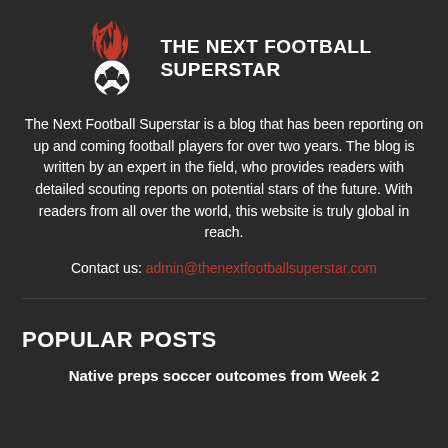[Figure (logo): The Next Football Superstar logo with a soccer ball on fire and text THE NEXT FOOTBALL SUPERSTAR]
The Next Football Superstar is a blog that has been reporting on up and coming football players for over two years. The blog is written by an expert in the field, who provides readers with detailed scouting reports on potential stars of the future. With readers from all over the world, this website is truly global in reach.
Contact us: admin@thenextfootballsuperstar.com
POPULAR POSTS
Native preps soccer outcomes from Week 2